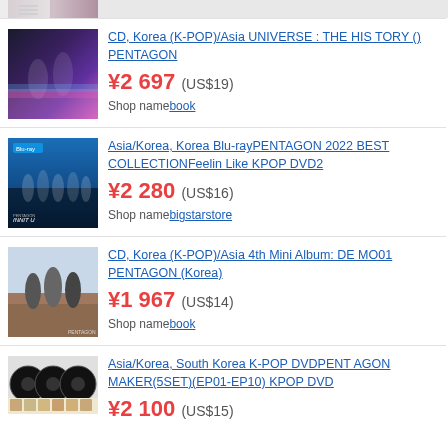[Figure (screenshot): Partial top strip showing previous product listing (cropped)]
CD, Korea (K-POP)/Asia UNIVERSE : THE HISTORY () PENTAGON | ¥2697 (US$19) | Shop name book
Asia/Korea, Korea Blu-rayPENTAGON 2022 BEST COLLECTIONFeelin Like KPOP DVD2 | ¥2280 (US$16) | Shop name bigstarstore
CD, Korea (K-POP)/Asia 4th Mini Album: DEMO01 PENTAGON (Korea) | ¥1967 (US$14) | Shop name book
Asia/Korea, South Korea K-POP DVDPENTAGON MAKER(5SET)(EP01-EP10) KPOP DVD | ¥2100 (US$15)